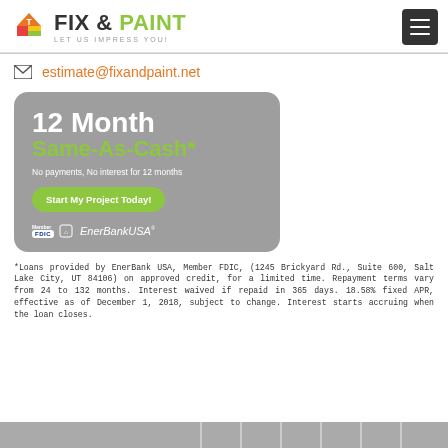[Figure (logo): Fix & Paint logo with house icon and tagline 'Let us impress you!']
estimate@fixandpaint.net
[Figure (infographic): 12 Month Same-As-Cash* promotional card on grey background. No payments, No interest for 12 months. Button: Start My Project Today! EnerBankUSA logo with FDIC member badge.]
*Loans provided by EnerBank USA, Member FDIC, (1245 Brickyard Rd., Suite 600, Salt Lake City, UT 84106) on approved credit, for a limited time. Repayment terms vary from 24 to 132 months. Interest waived if repaid in 365 days. 18.58% fixed APR, effective as of December 1, 2018, subject to change. Interest starts accruing when the loan closes.